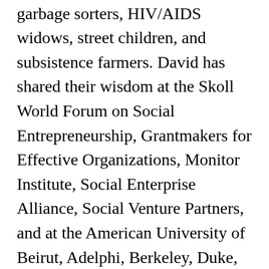challenged, genocide survivors, garbage sorters, HIV/AIDS widows, street children, and subsistence farmers. David has shared their wisdom at the Skoll World Forum on Social Entrepreneurship, Grantmakers for Effective Organizations, Monitor Institute, Social Enterprise Alliance, Social Venture Partners, and at the American University of Beirut, Adelphi, Berkeley, Duke, Harvard, Notre Dame, Oxford, Princeton, Stanford, Tufts, and Wheaton. David earned a Harvard MPA in Leadership, Negotiation and Conflict Resolution; a UCLA MA in Applied Linguistics; and a Wheaton BA in Communications magna cum laude. A Pforzheimer Nonprofit Fellow at Harvard